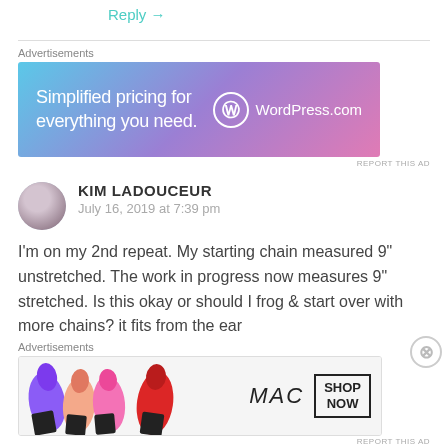Reply →
Advertisements
[Figure (illustration): WordPress.com advertisement banner with gradient blue-purple-pink background. Text reads 'Simplified pricing for everything you need.' with WordPress.com logo on the right.]
REPORT THIS AD
KIM LADOUCEUR
July 16, 2019 at 7:39 pm
I'm on my 2nd repeat. My starting chain measured 9" unstretched. The work in progress now measures 9" stretched. Is this okay or should I frog & start over with more chains? it fits from the ear
Advertisements
[Figure (illustration): MAC cosmetics advertisement banner showing colorful lipsticks on the left and MAC logo with SHOP NOW box on the right.]
REPORT THIS AD